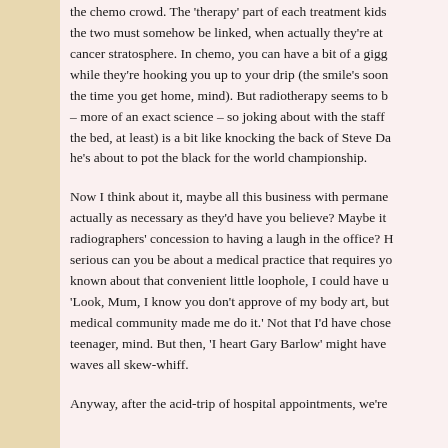the chemo crowd. The 'therapy' part of each treatment kids the two must somehow be linked, when actually they're at cancer stratosphere. In chemo, you can have a bit of a gigg while they're hooking you up to your drip (the smile's soon the time you get home, mind). But radiotherapy seems to b – more of an exact science – so joking about with the staff the bed, at least) is a bit like knocking the back of Steve Da he's about to pot the black for the world championship.
Now I think about it, maybe all this business with permane actually as necessary as they'd have you believe? Maybe it radiographers' concession to having a laugh in the office? H serious can you be about a medical practice that requires yo known about that convenient little loophole, I could have u 'Look, Mum, I know you don't approve of my body art, but medical community made me do it.' Not that I'd have chose teenager, mind. But then, 'I heart Gary Barlow' might have waves all skew-whiff.
Anyway, after the acid-trip of hospital appointments, we're